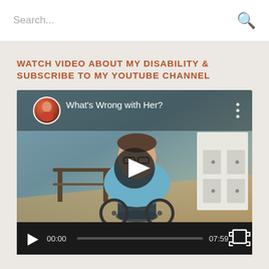Search...
WATCH VIDEO ABOUT MY DISABILITY & SUBSCRIBE TO MY YOUTUBE CHANNEL
[Figure (screenshot): Embedded YouTube video player showing a woman in a wheelchair (blue top, glasses) in a room. Video title: 'What's Wrong with Her?' with channel avatar in top left. Large play button overlay in center. Video controls bar at bottom showing 00:00 / 07:59.]